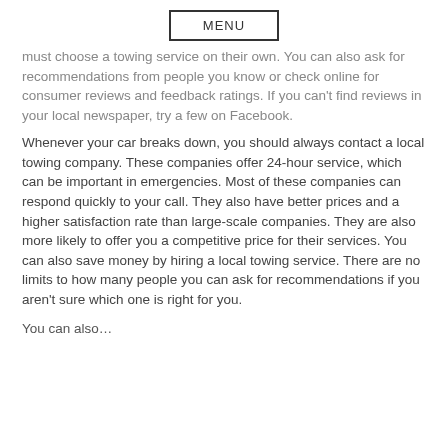MENU
must choose a towing service on their own. You can also ask for recommendations from people you know or check online for consumer reviews and feedback ratings. If you can't find reviews in your local newspaper, try a few on Facebook.
Whenever your car breaks down, you should always contact a local towing company. These companies offer 24-hour service, which can be important in emergencies. Most of these companies can respond quickly to your call. They also have better prices and a higher satisfaction rate than large-scale companies. They are also more likely to offer you a competitive price for their services. You can also save money by hiring a local towing service. There are no limits to how many people you can ask for recommendations if you aren't sure which one is right for you.
You can also...